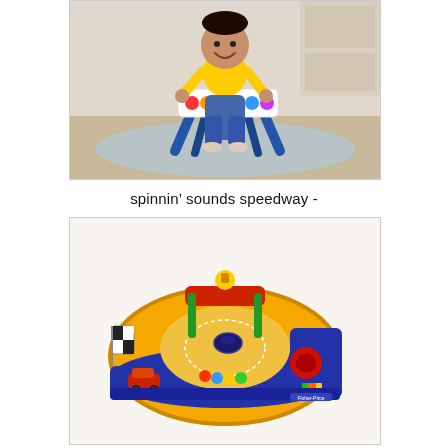[Figure (photo): A toddler in a yellow shirt and jeans standing and playing with a blue activity table toy on a light blue mat in a home setting.]
spinnin’ sounds speedway -
[Figure (photo): A Fisher-Price Spinnin' Sounds Speedway toy featuring a yellow and purple race track with a spinning car in the center, a checkered flag, and a small race car on the side.]